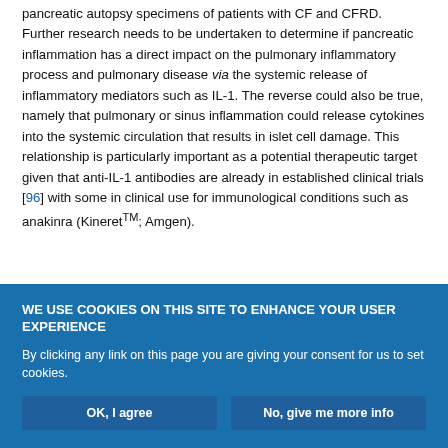pancreatic autopsy specimens of patients with CF and CFRD. Further research needs to be undertaken to determine if pancreatic inflammation has a direct impact on the pulmonary inflammatory process and pulmonary disease via the systemic release of inflammatory mediators such as IL-1. The reverse could also be true, namely that pulmonary or sinus inflammation could release cytokines into the systemic circulation that results in islet cell damage. This relationship is particularly important as a potential therapeutic target given that anti-IL-1 antibodies are already in established clinical trials [96] with some in clinical use for immunological conditions such as anakinra (KineretTM; Amgen).
WE USE COOKIES ON THIS SITE TO ENHANCE YOUR USER EXPERIENCE
By clicking any link on this page you are giving your consent for us to set cookies.
OK, I agree
No, give me more info